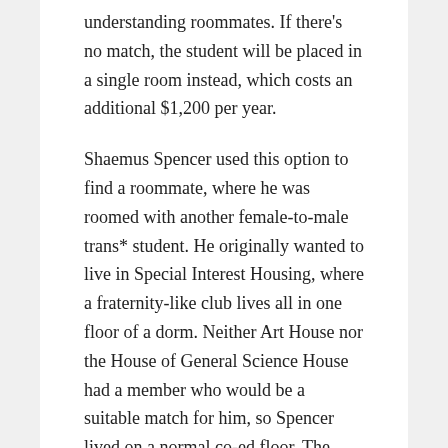understanding roommates. If there's no match, the student will be placed in a single room instead, which costs an additional $1,200 per year.
Shaemus Spencer used this option to find a roommate, where he was roomed with another female-to-male trans* student. He originally wanted to live in Special Interest Housing, where a fraternity-like club lives all in one floor of a dorm. Neither Art House nor the House of General Science House had a member who would be a suitable match for him, so Spencer lived on a normal co-ed floor. The only people who knew of his trans* status were his roommate and the floor's residential advisor.
Spencer would...